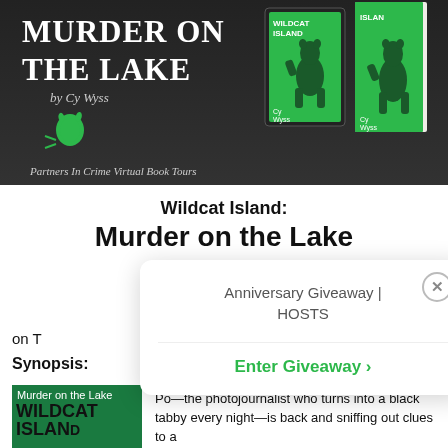[Figure (photo): Book cover banner for 'Wildcat Island: Murder on the Lake' by Cy Wyss, showing book covers against dark background, green cat icon, Partners In Crime Virtual Book Tours text]
Wildcat Island:
Murder on the Lake
on T
Synopsis:
[Figure (photo): Small book cover thumbnail showing Murder on the Lake / Wildcat Island green cover]
Po—the photojournalist who turns into a black tabby every night—is back and sniffing out clues to a
[Figure (screenshot): Popup dialog: Anniversary Giveaway | HOSTS with Enter Giveaway button and close X button]